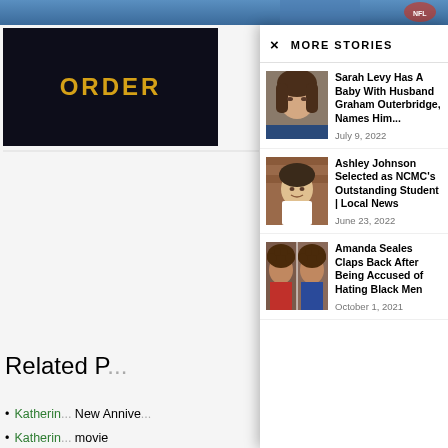[Figure (screenshot): Top banner area with sports/NFL imagery in blue tones]
[Figure (screenshot): ORDER button on black background with gold text, partial left-side page]
Related P[osts]
Katherin[a]... New Annive[rsary]...
Katherin[a]... movie
Arrowve[...] Attend Crea[tive]...
Shadow[...] Daddario M[...]
'Shadow[hunters]... 8 Ex Reasons Why Sara Houston A Caliwater Weekend Escape! |...
Monique Coleman & Katherine McNamara Attend 'The
MORE STORIES
[Figure (photo): Photo of Sarah Levy, woman with brown hair]
Sarah Levy Has A Baby With Husband Graham Outerbridge, Names Him...
July 9, 2022
[Figure (photo): Photo of Ashley Johnson in white t-shirt in front of brick wall]
Ashley Johnson Selected as NCMC's Outstanding Student | Local News
June 23, 2022
[Figure (photo): Two selfie photos of Amanda Seales with curly hair]
Amanda Seales Claps Back After Being Accused of Hating Black Men
October 1, 2021